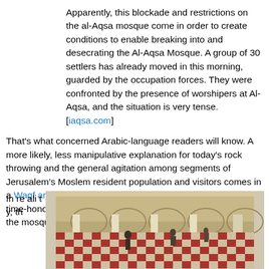Apparently, this blockade and restrictions on the al-Aqsa mosque come in order to create conditions to enable breaking into and desecrating the Al-Aqsa Mosque. A group of 30 settlers has already moved in this morning, guarded by the occupation forces. They were confronted by the presence of worshipers at Al-Aqsa, and the situation is very tense. [iaqsa.com]
That's what concerned Arabic-language readers will know. A more likely, less manipulative explanation for today's rock throwing and the general agitation among segments of Jerusalem's Moslem resident population and visitors comes in a Waqf article from yesterday. There the headline refers, in time-honored fashion, to "settlers" "storming and desecrating" the mosque on Tuesday.
In reality, th
[Figure (photo): Interior of Al-Aqsa Mosque showing ornate checkered red and white floor, tall columns, arched ceilings, and several people inside.]